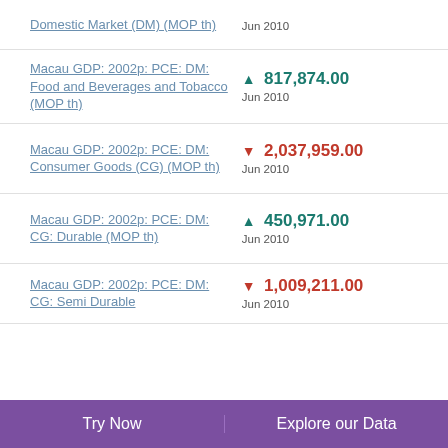Domestic Market (DM) (MOP th)
Macau GDP: 2002p: PCE: DM: Food and Beverages and Tobacco (MOP th)
Macau GDP: 2002p: PCE: DM: Consumer Goods (CG) (MOP th)
Macau GDP: 2002p: PCE: DM: CG: Durable (MOP th)
Macau GDP: 2002p: PCE: DM: CG: Semi Durable
Try Now | Explore our Data